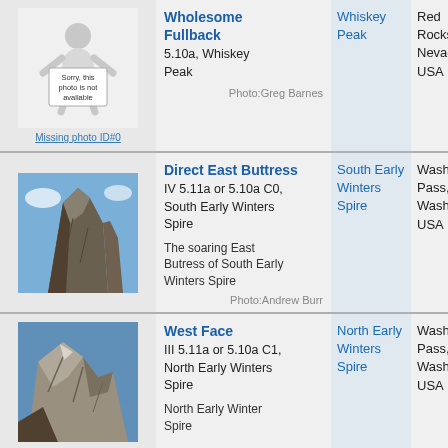| Photo | Route | Area | Location |
| --- | --- | --- | --- |
| Missing photo ID#0 | Wholesome Fullback
5.10a, Whiskey Peak

Photo:Greg Barnes | Whiskey Peak | Red Rocks, Nevada USA |
| [rock photo] | Direct East Buttress
IV 5.11a or 5.10a C0, South Early Winters Spire

The soaring East Butress of South Early Winters Spire
Photo:Andrew Burr | South Early Winters Spire | Washington Pass, Washington, USA |
| [rock photo] | West Face
III 5.11a or 5.10a C1, North Early Winters Spire

North Early Winter Spire | North Early Winters Spire | Washington Pass, Washington, USA |